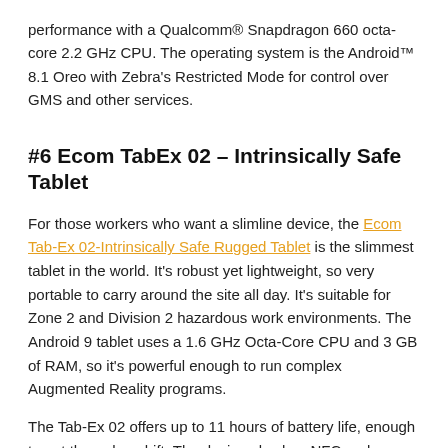performance with a Qualcomm® Snapdragon 660 octa-core 2.2 GHz CPU. The operating system is the Android™ 8.1 Oreo with Zebra's Restricted Mode for control over GMS and other services.
#6 Ecom TabEx 02 – Intrinsically Safe Tablet
For those workers who want a slimline device, the Ecom Tab-Ex 02-Intrinsically Safe Rugged Tablet is the slimmest tablet in the world. It's robust yet lightweight, so very portable to carry around the site all day. It's suitable for Zone 2 and Division 2 hazardous work environments. The Android 9 tablet uses a 1.6 GHz Octa-Core CPU and 3 GB of RAM, so it's powerful enough to run complex Augmented Reality programs.
The Tab-Ex 02 offers up to 11 hours of battery life, enough to get through a shift. The device also has NFC and Wireless 4G LTE capabilities, Samsung KNOX security protection and more!